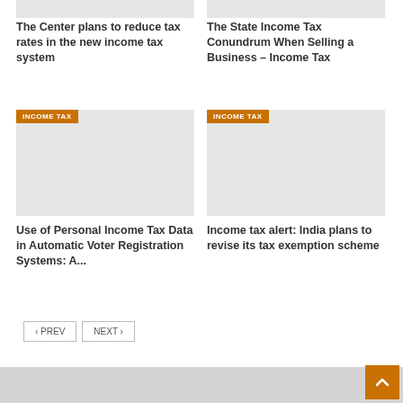The Center plans to reduce tax rates in the new income tax system
[Figure (photo): Gray placeholder image for income tax article]
The State Income Tax Conundrum When Selling a Business – Income Tax
[Figure (photo): Gray placeholder image with INCOME TAX badge for Use of Personal Income Tax article]
[Figure (photo): Gray placeholder image with INCOME TAX badge for Income tax alert article]
Use of Personal Income Tax Data in Automatic Voter Registration Systems: A...
Income tax alert: India plans to revise its tax exemption scheme
‹ PREV   NEXT ›